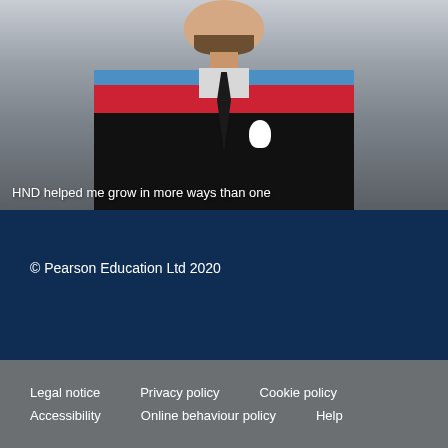[Figure (photo): A young man in a black graduation gown with red and blue hood, wearing a white flower corsage, smiling at the camera against a light background. Text overlay reads: HND helped me grow in more ways than one]
HND helped me grow in more ways than one
© Pearson Education Ltd 2020
Legal notice   Privacy policy   Cookie policy   Accessibility   Online behaviour policy   Help